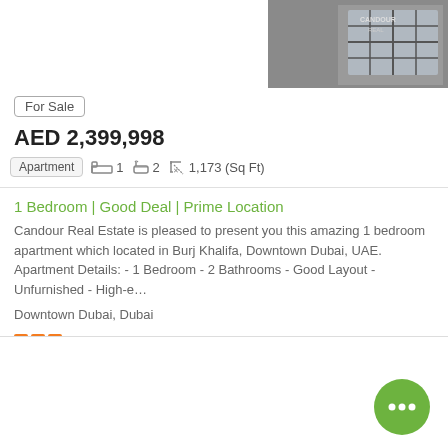[Figure (photo): Property photo showing interior window area with CANDOUR branding visible]
For Sale
AED 2,399,998
Apartment  1  2  1,173 (Sq Ft)
1 Bedroom | Good Deal | Prime Location
Candour Real Estate is pleased to present you this amazing 1 bedroom apartment which located in Burj Khalifa, Downtown Dubai, UAE. Apartment Details: - 1 Bedroom - 2 Bathrooms - Good Layout - Unfurnished - High-e…
Downtown Dubai, Dubai
Candour Real Estate
[Figure (photo): Second property listing card, mostly blank/loading area with a green more options button]